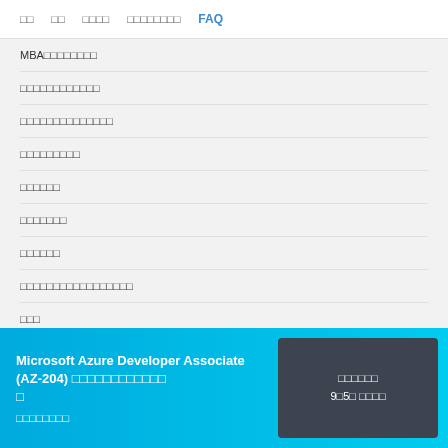□□  □□  □□□□  □□□□□□□□  FAQ
MBA□□□□□□□□
□□□□□□□□□□□□
□□□□□□□□□□□□□□
□□□□□□□□□
□□□□□□
□□□□□□□
□□□□□□
□□□□□□□□□□□□□□□□□
□□□
□□□
□□□□□□□□□□□□□
Microsoft Azure Developer Associate (AZ-204) □□□□□□□□□□□□
□□□□□□□□
□□□□□□
9□5□ □□□□